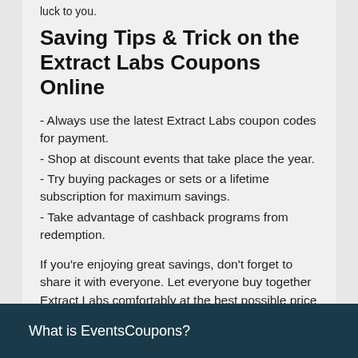luck to you.
Saving Tips & Trick on the Extract Labs Coupons Online
- Always use the latest Extract Labs coupon codes for payment.
- Shop at discount events that take place the year.
- Try buying packages or sets or a lifetime subscription for maximum savings.
- Take advantage of cashback programs from redemption.
If you're enjoying great savings, don't forget to share it with everyone. Let everyone buy together Extract Labs comfortably at the best possible price ==> https://www. ExtractLabs.com
What is EventsCoupons?